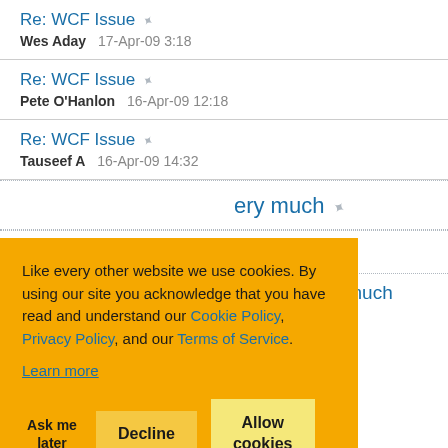Re: WCF Issue — Wes Aday 17-Apr-09 3:18
Re: WCF Issue — Pete O'Hanlon 16-Apr-09 12:18
Re: WCF Issue — Tauseef A 16-Apr-09 14:32
Like every other website we use cookies. By using our site you acknowledge that you have read and understand our Cookie Policy, Privacy Policy, and our Terms of Service. Learn more
Ask me later   Decline   Allow cookies
Re: silverlight made website slow very much
Re: silverlight made website slow very much
Re: silverlight made website slow very much